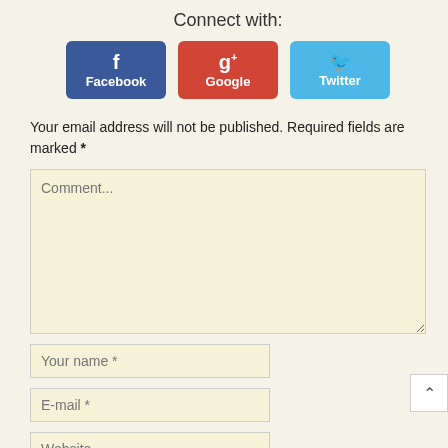Connect with:
[Figure (infographic): Three social media login buttons: Facebook (dark blue with f icon), Google (red with g+ icon), Twitter (light blue with bird icon)]
Your email address will not be published. Required fields are marked *
[Figure (screenshot): Comment text area with placeholder text 'Comment...']
[Figure (screenshot): Your name * input field]
[Figure (screenshot): E-mail * input field]
[Figure (screenshot): Website input field]
[Figure (screenshot): Post Comment button (partially visible, blue)]